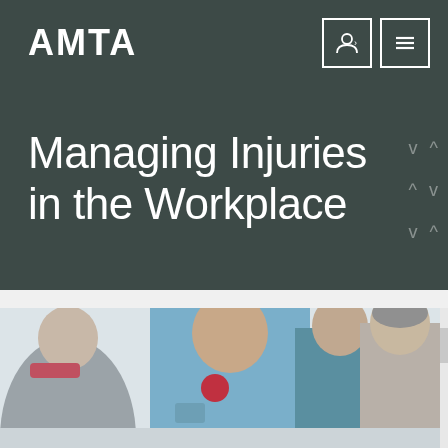AMTA
Managing Injuries in the Workplace
[Figure (photo): Group of people in a healthcare or workplace injury management session; a person in a blue polo shirt with a name tag leans forward, flanked by others including an older man on the right and a woman in teal on the left.]